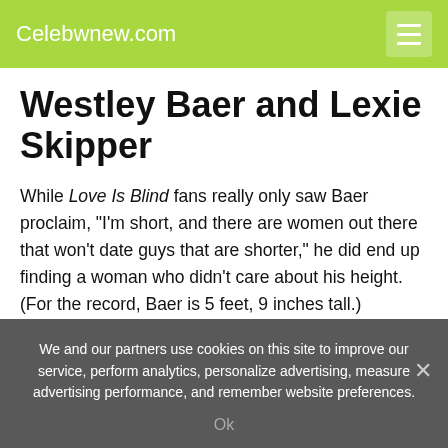Celebwnew.com
Westley Baer and Lexie Skipper
While Love Is Blind fans really only saw Baer proclaim, "I'm short, and there are women out there that won't date guys that are shorter," he did end up finding a woman who didn't care about his height. (For the record, Baer is 5 feet, 9 inches tall.)
"I had my top three after the first or second day," he says. "I really connected with one girl in specific, her name's Lexie. I
We and our partners use cookies on this site to improve our service, perform analytics, personalize advertising, measure advertising performance, and remember website preferences.